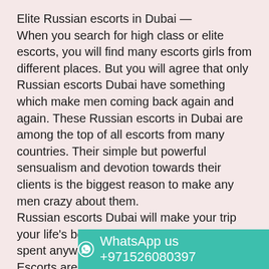Elite Russian escorts in Dubai —
When you search for high class or elite escorts, you will find many escorts girls from different places. But you will agree that only Russian escorts Dubai have something which make men coming back again and again. These Russian escorts in Dubai are among the top of all escorts from many countries. Their simple but powerful sensualism and devotion towards their clients is the biggest reason to make any men crazy about them.
Russian escorts Dubai will make your trip your life's best moment and time you never spent anywhere. These high class Dubai Escorts are world famous because of their figure and curvy chubby bodies.

Russian women are simply the image of beauty, really sensational women. Their beauty is from the combination of western and eastern features. Russia being a plac... there
WhatsApp us +971526080397